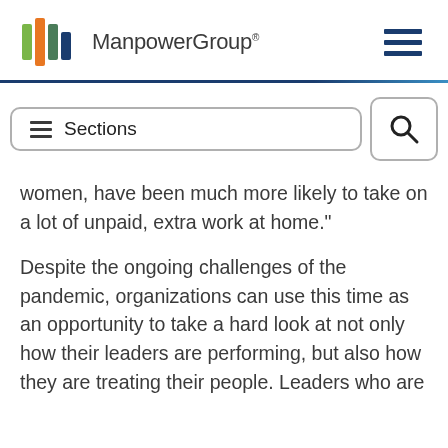[Figure (logo): ManpowerGroup logo with colorful stripes icon and company name]
women, have been much more likely to take on a lot of unpaid, extra work at home."
Despite the ongoing challenges of the pandemic, organizations can use this time as an opportunity to take a hard look at not only how their leaders are performing, but also how they are treating their people. Leaders who are